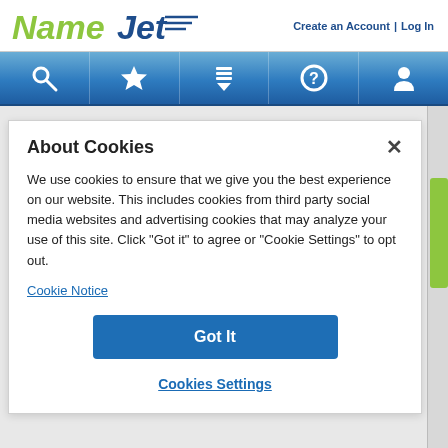[Figure (logo): NameJet logo with green 'Name' and blue italic 'Jet' with arrow graphic]
Create an Account | Log In
[Figure (infographic): Navigation bar with icons: search (magnifying glass), star, download, help (?), user/person icons on blue gradient background]
About Cookies
We use cookies to ensure that we give you the best experience on our website. This includes cookies from third party social media websites and advertising cookies that may analyze your use of this site. Click "Got it" to agree or "Cookie Settings" to opt out.
Cookie Notice
Got It
Cookies Settings